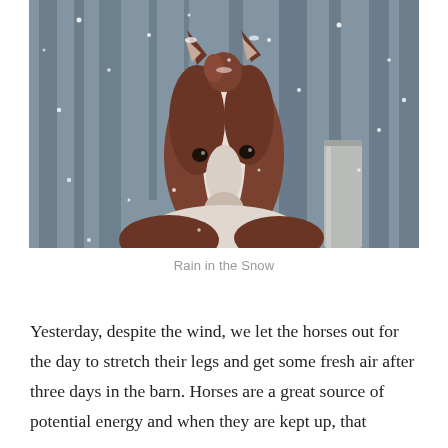[Figure (photo): Close-up photograph of a brown and white paint horse facing the camera in a snowstorm, with snowflakes visible and a wooden fence post to the right, bare winter trees in the blurred background.]
Rain in the Snow
Yesterday, despite the wind, we let the horses out for the day to stretch their legs and get some fresh air after three days in the barn. Horses are a great source of potential energy and when they are kept up, that energy